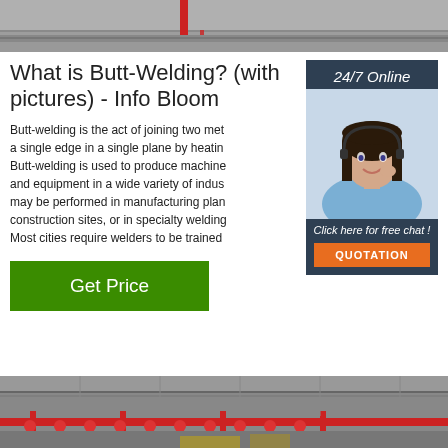[Figure (photo): Top portion of an industrial manufacturing facility photo, partially cropped]
What is Butt-Welding? (with pictures) - Info Bloom
Butt-welding is the act of joining two met a single edge in a single plane by heatin Butt-welding is used to produce machine and equipment in a wide variety of indus may be performed in manufacturing plan construction sites, or in specialty welding Most cities require welders to be trained
[Figure (photo): Sidebar widget with woman wearing headset, dark blue background, '24/7 Online' text, 'Click here for free chat!' text, and orange QUOTATION button]
[Figure (photo): Green 'Get Price' button]
[Figure (photo): Bottom portion of an industrial warehouse/facility photo with red overhead crane structure]